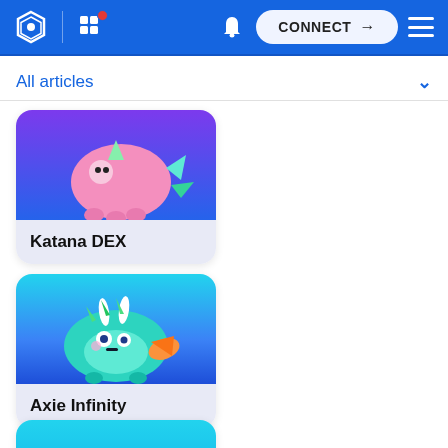Navigation bar with logo, grid icon, bell, CONNECT button, and menu
All articles
[Figure (illustration): Card showing Katana DEX with a pink axie creature on a blue gradient background]
[Figure (illustration): Card showing Axie Infinity with a teal/blue axie fish creature on a blue gradient background]
[Figure (illustration): Card partially visible at bottom, teal background]